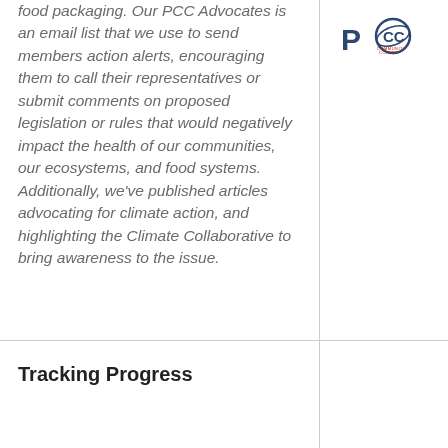food packaging. Our PCC Advocates is an email list that we use to send members action alerts, encouraging them to call their representatives or submit comments on proposed legislation or rules that would negatively impact the health of our communities, our ecosystems, and food systems. Additionally, we've published articles advocating for climate action, and highlighting the Climate Collaborative to bring awareness to the issue.
[Figure (logo): PCC logo — circular emblem with 'PCC' text and a circular orbit/ring graphic in dark blue and red]
Tracking Progress